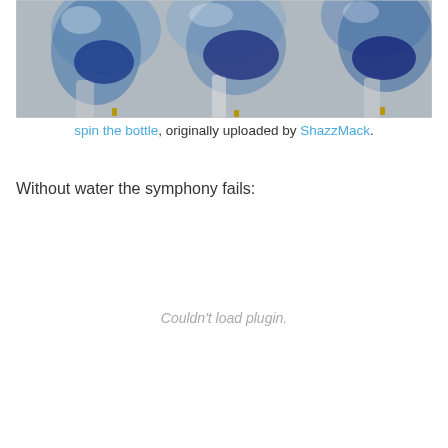[Figure (photo): Close-up photograph of blue glass bottles or glass objects with bokeh/blur, showing blue and transparent glass forms against a light grey background]
spin the bottle, originally uploaded by ShazzMack.
Without water the symphony fails:
Couldn't load plugin.